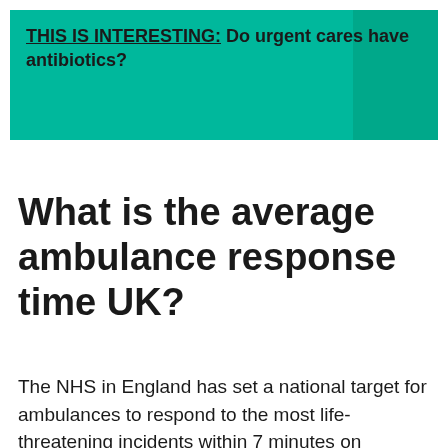THIS IS INTERESTING: Do urgent cares have antibiotics?
What is the average ambulance response time UK?
The NHS in England has set a national target for ambulances to respond to the most life-threatening incidents within 7 minutes on average.